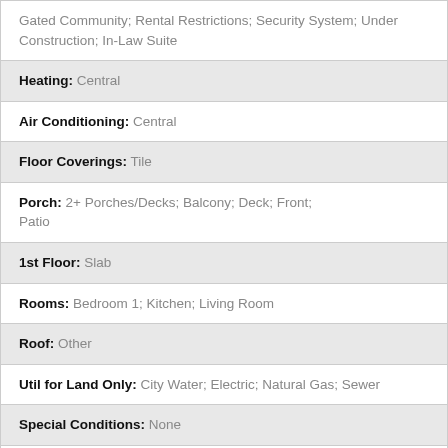| Gated Community; Rental Restrictions; Security System; Under Construction; In-Law Suite |
| Heating: Central |
| Air Conditioning: Central |
| Floor Coverings: Tile |
| Porch: 2+ Porches/Decks; Balcony; Deck; Front; Patio |
| 1st Floor: Slab |
| Rooms: Bedroom 1; Kitchen; Living Room |
| Roof: Other |
| Util for Land Only: City Water; Electric; Natural Gas; Sewer |
| Special Conditions: None |
| Condo: End Unit; Multi-Level Unit |